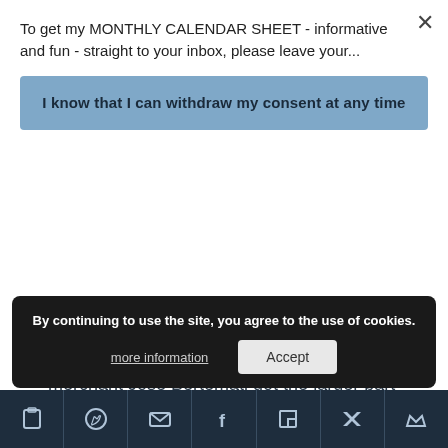To get my MONTHLY CALENDAR SHEET - informative and fun - straight to your inbox, please leave your...
I know that I can withdraw my consent at any time
of the 19th century, this large building underwent numerous transformations. Finally, it was divided into two properties. Wealthy merchant José Bertemati got the larger part that he remodeled in the then-new neoclassical fashion. After a couple of unfortunate purchases, the other part was transformed into an eclectic mix of French and neo-Nazari styles.
By continuing to use the site, you agree to the use of cookies.
more information
Accept